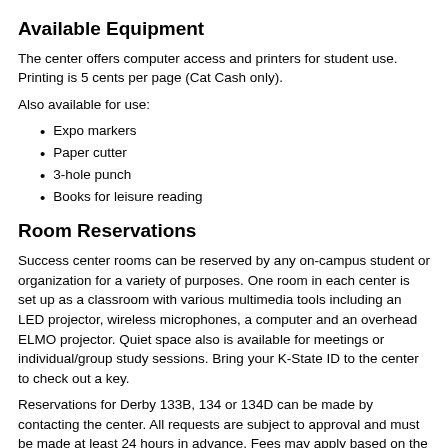Available Equipment
The center offers computer access and printers for student use. Printing is 5 cents per page (Cat Cash only).
Also available for use:
Expo markers
Paper cutter
3-hole punch
Books for leisure reading
Room Reservations
Success center rooms can be reserved by any on-campus student or organization for a variety of purposes. One room in each center is set up as a classroom with various multimedia tools including an LED projector, wireless microphones, a computer and an overhead ELMO projector. Quiet space also is available for meetings or individual/group study sessions. Bring your K-State ID to the center to check out a key.
Reservations for Derby 133B, 134 or 134D can be made by contacting the center. All requests are subject to approval and must be made at least 24 hours in advance. Fees may apply based on the residency of a student or organization.